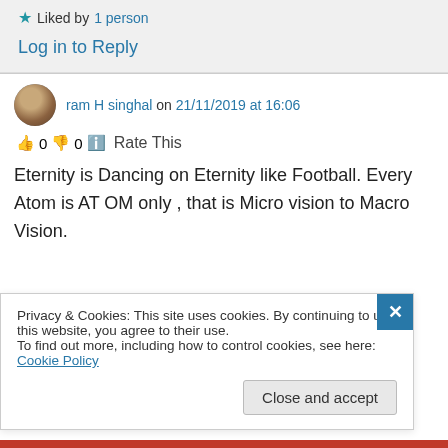★ Liked by 1 person
Log in to Reply
ram H singhal on 21/11/2019 at 16:06
👍 0 👎 0 ℹ Rate This
Eternity is Dancing on Eternity like Football. Every Atom is AT OM only , that is Micro vision to Macro Vision.
Privacy & Cookies: This site uses cookies. By continuing to use this website, you agree to their use. To find out more, including how to control cookies, see here: Cookie Policy
Close and accept